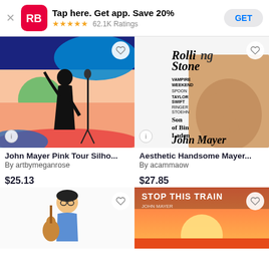[Figure (screenshot): App store banner with Redbubble logo, 'Tap here. Get app. Save 20%', 5 stars, 62.1K Ratings, GET button]
[Figure (photo): John Mayer Pink Tour Silhouette - colorful pop art silhouette of guitarist at mic]
[Figure (photo): Aesthetic Handsome Mayer - Rolling Stone magazine cover featuring John Mayer]
John Mayer Pink Tour Silho...
By artbymeganrose
$25.13
Aesthetic Handsome Mayer...
By acammaow
$27.85
[Figure (illustration): Bottom left product image - person playing guitar illustration]
[Figure (photo): Bottom right product - STOP THIS TRAIN artwork with orange sunset]